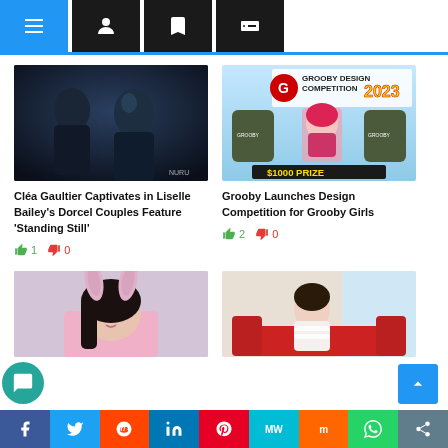Navigation bar with menu, user, bookmark, and tag icons
[Figure (photo): Dark cinematic photo of a man and woman in close proximity, dramatic lighting]
Cléa Gaultier Captivates in Liselle Bailey's Dorcel Couples Feature 'Standing Still'
👍 1  👎 0
[Figure (photo): Grooby Design Competition 2023 banner with hoodies and anime girl, $1000 Prize]
Grooby Launches Design Competition for Grooby Girls
👍 2  👎 0
[Figure (photo): Person wearing pink bunny ears headband]
[Figure (photo): Person seated on red couch wearing white lacy outfit]
Social share bar: Facebook, Twitter, Reddit, LinkedIn, Pinterest, MeWe, Mix, WhatsApp, Share